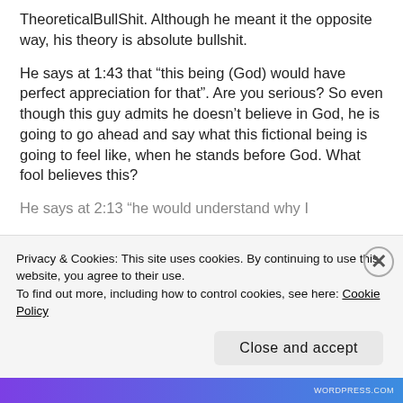TheoreticalBullShit. Although he meant it the opposite way, his theory is absolute bullshit.
He says at 1:43 that “this being (God) would have perfect appreciation for that”. Are you serious? So even though this guy admits he doesn’t believe in God, he is going to go ahead and say what this fictional being is going to feel like, when he stands before God. What fool believes this?
He says at 2:13 “he would understand why I
Privacy & Cookies: This site uses cookies. By continuing to use this website, you agree to their use.
To find out more, including how to control cookies, see here: Cookie Policy
Close and accept